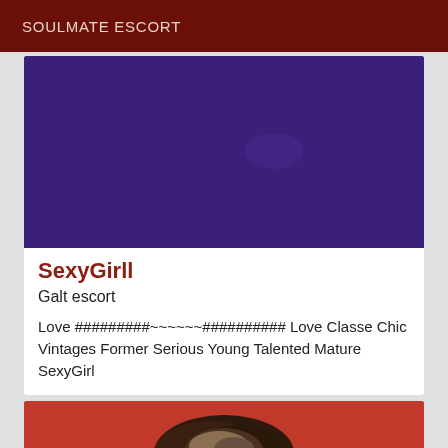SOULMATE ESCORT
[Figure (photo): Large purple/violet background image, mostly solid deep purple color with a faint watermark or subtle image in the center-right area]
SexyGirll
Galt escort
Love #########~~~~~~########## Love Classe Chic Vintages Former Serious Young Talented Mature SexyGirl
[Figure (photo): Partial image visible at bottom showing a person with dark hair against a reddish background]